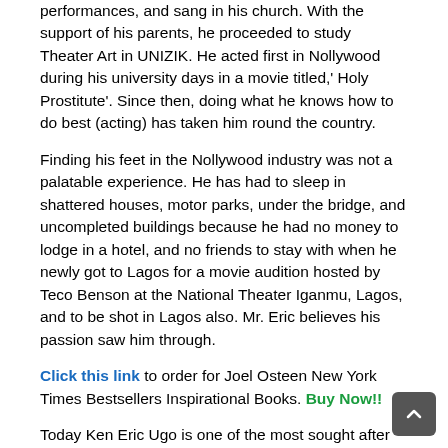performances, and sang in his church. With the support of his parents, he proceeded to study Theater Art in UNIZIK. He acted first in Nollywood during his university days in a movie titled,' Holy Prostitute'. Since then, doing what he knows how to do best (acting) has taken him round the country.
Finding his feet in the Nollywood industry was not a palatable experience. He has had to sleep in shattered houses, motor parks, under the bridge, and uncompleted buildings because he had no money to lodge in a hotel, and no friends to stay with when he newly got to Lagos for a movie audition hosted by Teco Benson at the National Theater Iganmu, Lagos, and to be shot in Lagos also. Mr. Eric believes his passion saw him through.
Click this link to order for Joel Osteen New York Times Bestsellers Inspirational Books. Buy Now!!
Today Ken Eric Ugo is one of the most sought after actors in the Nigerian movie industry “Nollywood”, and one of the richest celebrities in Nigeria with fleets of cars, houses, and other properties here and there.
Ken Erics is very handsome, generous, friendly, loving and a philanthropist, one need not be told that girls are all over him. What else is expected? He is a cute made guy and still single.